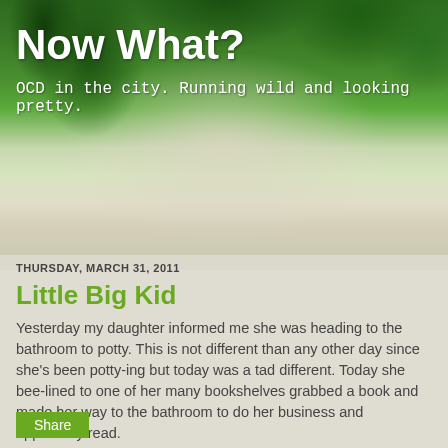[Figure (photo): Forest waterfall background image with green trees and white flowing water]
Now What?
OCD in the city. Running wild and looking pretty.
THURSDAY, MARCH 31, 2011
Little Big Kid
Yesterday my daughter informed me she was heading to the bathroom to potty. This is not different than any other day since she's been potty-ing but today was a tad different. Today she bee-lined to one of her many bookshelves grabbed a book and made her way to the bathroom to do her business and apparently read.
I stood there and watched her walk to the bathroom with her book in her hand and chuckled in disbelief.
Share